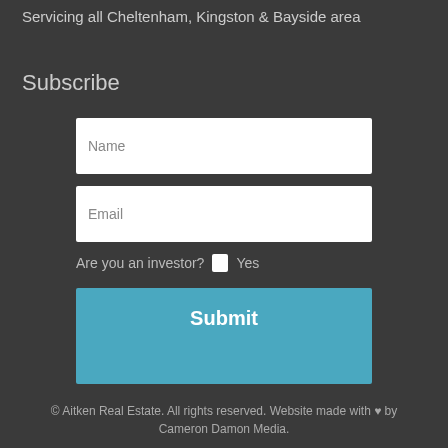Servicing all Cheltenham, Kingston & Bayside area
Subscribe
Name
Email
Are you an investor?  Yes
Submit
© Aitken Real Estate. All rights reserved. Website made with ♥ by Cameron Damon Media.